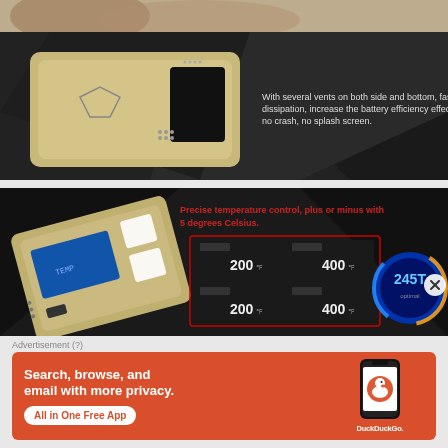[Figure (photo): Partial top of product image, cropped — appears to be a hand holding or near a vape device with beige/cream background]
[Figure (photo): Electronic box mod vape device (silver/gold rectangular device) on dark geometric background with text: With several vents on both side and bottom, fast heat dissipation, increase the battery efficiency effectively, no crash, no splash screen.]
[Figure (photo): Second vape box mod device on dark background showing temperature control screens (200°F, 400°F displays) with red lines pointing to screen panels. Text in red: Precise temperature control, plus or minus with 5 degrees Celsius. Right side shows a circular blue/gold temperature dial showing 245T.]
Advertisement (?)
[Figure (infographic): DuckDuckGo advertisement banner on orange/red background. Text: Search, browse, and email with more privacy. All in One Free App. Shows a phone with DuckDuckGo logo and text DuckDuckGo.]